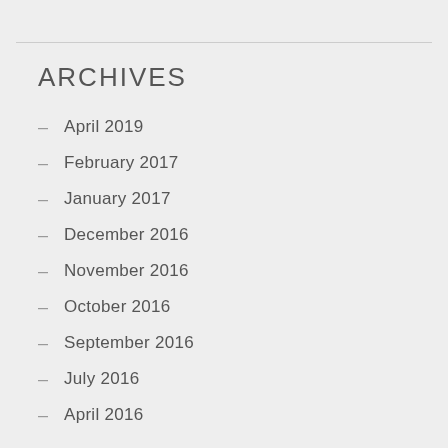ARCHIVES
April 2019
February 2017
January 2017
December 2016
November 2016
October 2016
September 2016
July 2016
April 2016